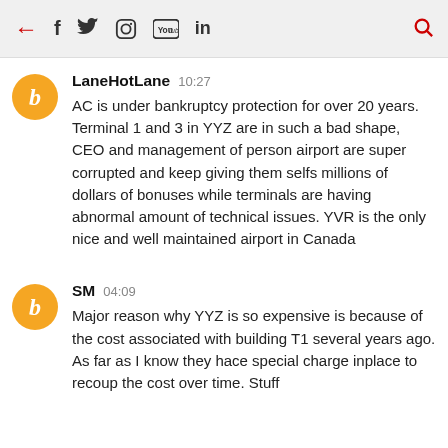← f 🐦 📷 ▶ in 🔍
LaneHotLane 10:27
AC is under bankruptcy protection for over 20 years. Terminal 1 and 3 in YYZ are in such a bad shape, CEO and management of person airport are super corrupted and keep giving them selfs millions of dollars of bonuses while terminals are having abnormal amount of technical issues. YVR is the only nice and well maintained airport in Canada
SM 04:09
Major reason why YYZ is so expensive is because of the cost associated with building T1 several years ago. As far as I know they hace special charge inplace to recoup the cost over time. Stuff